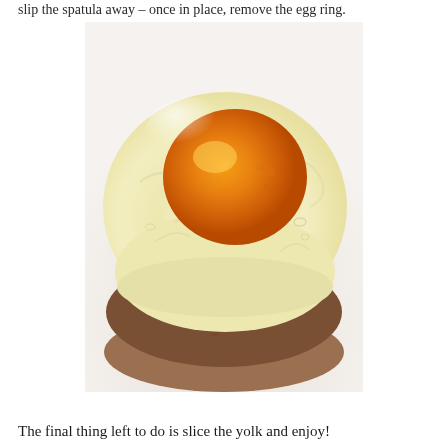slip the spatula away – once in place, remove the egg ring.
[Figure (photo): Close-up photograph of a fried egg with a runny orange yolk placed on top of a hash brown or meat patty, showing the egg white and yolk in detail, on a light plate.]
The final thing left to do is slice the yolk and enjoy!